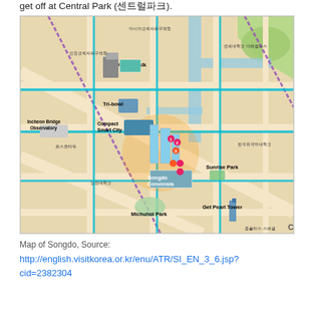get off at Central Park (센트럴파크).
[Figure (map): Map of Songdo, showing streets, landmarks, and points of interest including Canal Walk, Tri-bowl, Compact Smart City, Songdo Convensia, Sunrise Park, Get Pearl Tower, Michuhol Park, and Incheon Bridge Observatory. A purple diagonal line (transit route) runs through the map. Buildings are illustrated in 3D isometric style. Labels are in Korean and English.]
Map of Songdo, Source: http://english.visitkorea.or.kr/enu/ATR/SI_EN_3_6.jsp?cid=2382304